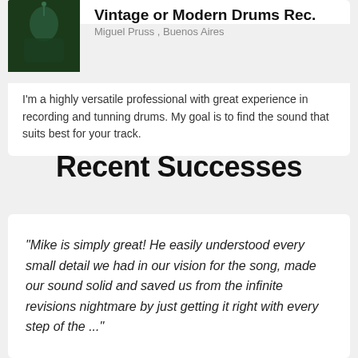Vintage or Modern Drums Rec.
Miguel Pruss , Buenos Aires
I'm a highly versatile professional with great experience in recording and tunning drums. My goal is to find the sound that suits best for your track.
Recent Successes
"Mike is simply great! He easily understood every small detail we had in our vision for the song, made our sound solid and saved us from the infinite revisions nightmare by just getting it right with every step of the ..."